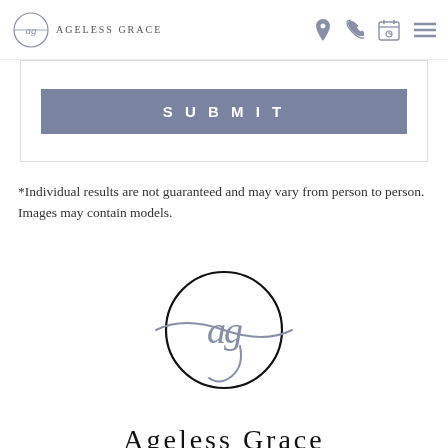Ageless Grace
SUBMIT
*Individual results are not guaranteed and may vary from person to person. Images may contain models.
[Figure (logo): Ageless Grace circular logo with stylized 'ag' script inside a circle, with decorative swoosh lines through center]
Ageless Grace